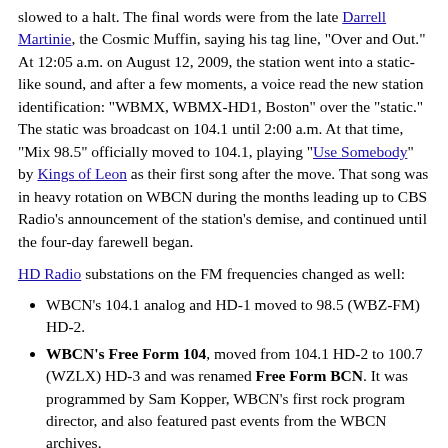slowed to a halt. The final words were from the late Darrell Martinie, the Cosmic Muffin, saying his tag line, "Over and Out." At 12:05 a.m. on August 12, 2009, the station went into a static-like sound, and after a few moments, a voice read the new station identification: "WBMX, WBMX-HD1, Boston" over the "static." The static was broadcast on 104.1 until 2:00 a.m. At that time, "Mix 98.5" officially moved to 104.1, playing "Use Somebody" by Kings of Leon as their first song after the move. That song was in heavy rotation on WBCN during the months leading up to CBS Radio's announcement of the station's demise, and continued until the four-day farewell began.
HD Radio substations on the FM frequencies changed as well:
WBCN's 104.1 analog and HD-1 moved to 98.5 (WBZ-FM) HD-2.
WBCN's Free Form 104, moved from 104.1 HD-2 to 100.7 (WZLX) HD-3 and was renamed Free Form BCN. It was programmed by Sam Kopper, WBCN's first rock program director, and also featured past events from the WBCN archives.
Indie 104.1 on 104.1 HD-3 ceased operations.
WBMX moved all of its subchannels with it from 98.5 to 104.1: Mix on analog and HD-1, The '80s Channel on HD-2, and The Sky on HD-3.